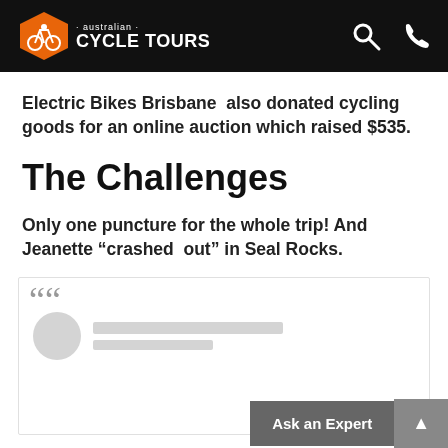australian CYCLE TOURS
Electric Bikes Brisbane  also donated cycling goods for an online auction which raised $535.
The Challenges
Only one puncture for the whole trip! And Jeanette “crashed  out” in Seal Rocks.
[Figure (screenshot): A testimonial/quote box with a large opening quotation mark, a circular avatar placeholder, and two grey placeholder bars for name and subtitle.]